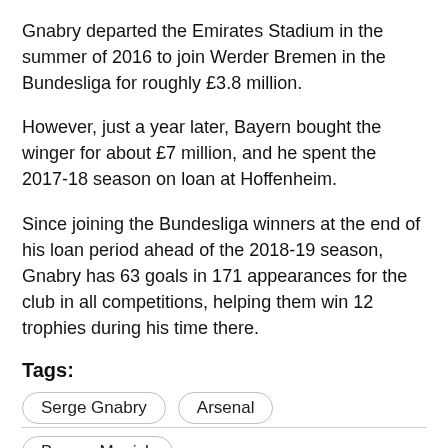Gnabry departed the Emirates Stadium in the summer of 2016 to join Werder Bremen in the Bundesliga for roughly £3.8 million.
However, just a year later, Bayern bought the winger for about £7 million, and he spent the 2017-18 season on loan at Hoffenheim.
Since joining the Bundesliga winners at the end of his loan period ahead of the 2018-19 season, Gnabry has 63 goals in 171 appearances for the club in all competitions, helping them win 12 trophies during his time there.
Tags:
Serge Gnabry
Arsenal
Bayern Munich